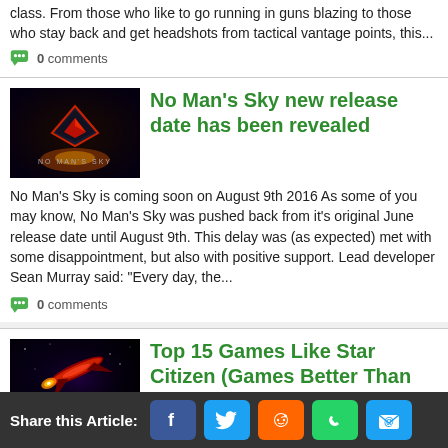class. From those who like to go running in guns blazing to those who stay back and get headshots from tactical vantage points, this...
0 comments
No Man's Sky new release date has been revealed
[Figure (screenshot): No Man's Sky game logo: dark background with geometric diamond shape and text NO MAN'S SKY]
No Man's Sky is coming soon on August 9th 2016 As some of you may know, No Man's Sky was pushed back from it's original June release date until August 9th. This delay was (as expected) met with some disappointment, but also with positive support. Lead developer Sean Murray said: "Every day, the...
0 comments
Top 15 Games Like Star Citizen (Games Better Than Star
[Figure (screenshot): Space game screenshot showing a spacecraft with glowing engines against a dark nebula background]
What Are The Best Games Like Star Citizen? Star Citizen is shaping into a great first-person sci-fi MMO
Share this Article: